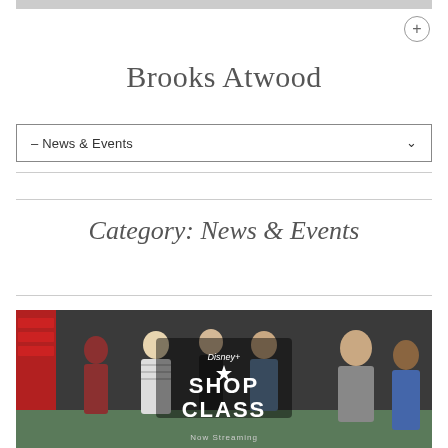Brooks Atwood
– News & Events
Category: News & Events
[Figure (photo): Group of people in a workshop setting with Disney Shop Class logo overlay. Text reads 'SHOP CLASS' with Disney Plus branding and 'Now Streaming' at the bottom.]